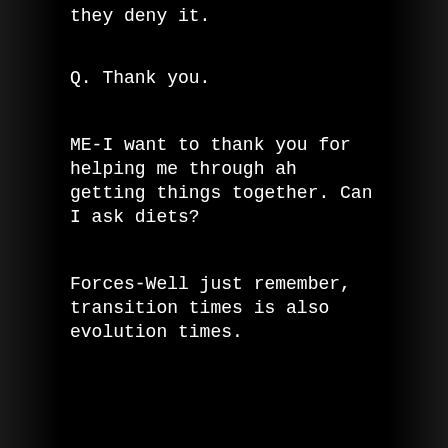they deny it.
Q. Thank you.
ME-I want to thank you for helping me through ah getting things together. Can I ask diets?
Forces-Well just remember, transition times is also evolution times.